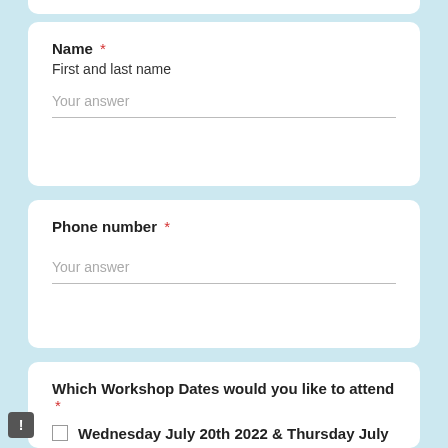Name *
First and last name
Your answer
Phone number *
Your answer
Which Workshop Dates would you like to attend *
Wednesday July 20th 2022 & Thursday July 21